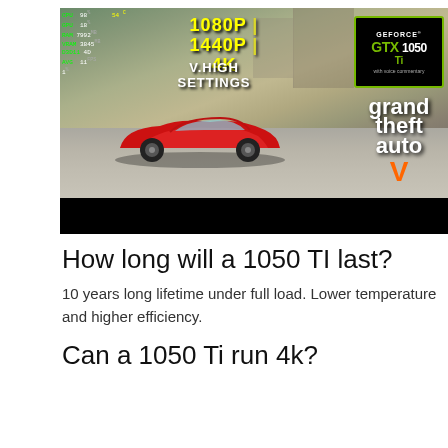[Figure (screenshot): YouTube video thumbnail showing GTA V gameplay with a red sports car, text overlay '1080P | 1440P | 4K V.HIGH SETTINGS', NVIDIA GeForce GTX 1050 Ti badge, Grand Theft Auto V logo, green hardware stats HUD in top-left corner, and black progress bar at bottom.]
How long will a 1050 TI last?
10 years long lifetime under full load. Lower temperature and higher efficiency.
Can a 1050 Ti run 4k?